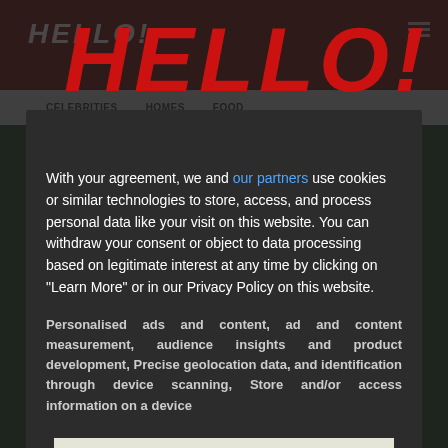[Figure (screenshot): Background screenshot of HELLO! magazine website showing navigation bar with dark red background and HELLO! logo, menu items including CELEBRITIES, HOMES, FOOD, and a breadcrumb showing Royalty section]
[Figure (logo): Large red HELLO! logo in bold italic red text displayed in the center of a cookie consent modal dialog]
With your agreement, we and our partners use cookies or similar technologies to store, access, and process personal data like your visit on this website. You can withdraw your consent or object to data processing based on legitimate interest at any time by clicking on "Learn More" or in our Privacy Policy on this website.
Personalised ads and content, ad and content measurement, audience insights and product development, Precise geolocation data, and identification through device scanning, Store and/or access information on a device
OPTIONS
AGREE